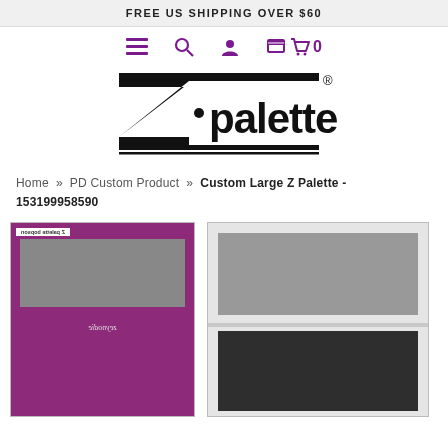FREE US SHIPPING OVER $60
[Figure (screenshot): Navigation icons: hamburger menu, search, user account, and shopping cart with 0 items, in purple]
[Figure (logo): Z Palette brand logo in black with registered trademark symbol]
Home » PD Custom Product » Custom Large Z Palette - 153199958590
[Figure (photo): Two product images: left shows purple/magenta Z Palette custom large palette; right shows white Z Palette with gray image slots (top and bottom)]